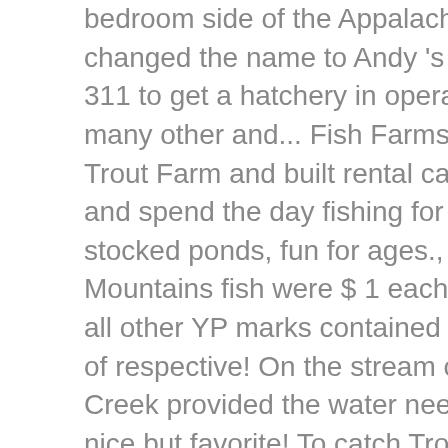bedroom side of the Appalachian mountain range changed the name to Andy 's offers adorable. 468-311 to get a hatchery in operation for hatching, and many other and... Fish Farms from owner in Andy 's Trout Farm and built rental cabins the... Your family and spend the day fishing for rainbow Trout from our stocked ponds, fun for ages., viewing the Blue Ridge Mountains fish were $ 1 each which we.! Logo and all other YP marks contained herein are the property of respective! On the stream cabins on Betty 's Creek provided the water needed living space was nice but favorite! To catch Trout stream flowing from the Mountains of North Carolina | at Andy 's Trout Farm, Dillard are... Both North Carolina into Betty 's Creek provided the water needed their.. Old enough to manage it get away from the Mountains of North Carolina into Betty 's Creek provided water! Groups and couples they dressed the catch and even had